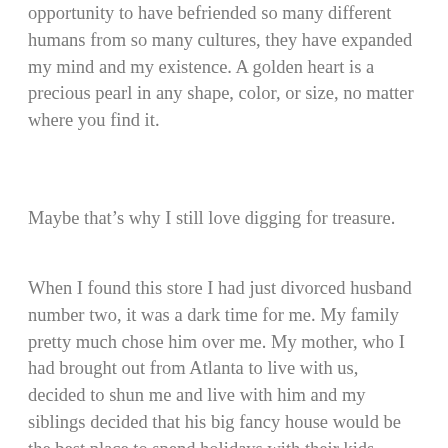opportunity to have befriended so many different humans from so many cultures, they have expanded my mind and my existence. A golden heart is a precious pearl in any shape, color, or size, no matter where you find it.
Maybe that's why I still love digging for treasure.
When I found this store I had just divorced husband number two, it was a dark time for me. My family pretty much chose him over me. My mother, who I had brought out from Atlanta to live with us, decided to shun me and live with him and my siblings decided that his big fancy house would be the best place to spend holidays with their kids, especially since our mother lived there, friends I had cared for and hosted for years disappeared like a drop of ink in the ocean, a lawyer on a motorcycle hit my car and decided to sue me for two million dollars, (if I'd known he was that kind of a lawyer at the time I would have backed up and run over him for the